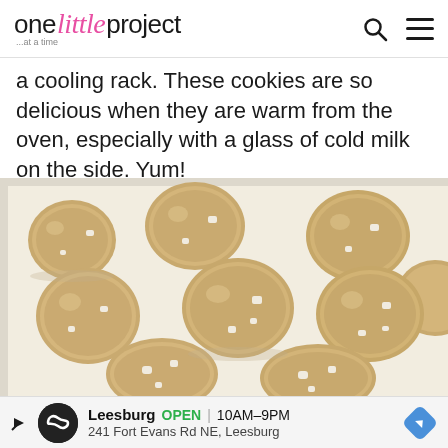one little project ...at a time
a cooling rack. These cookies are so delicious when they are warm from the oven, especially with a glass of cold milk on the side. Yum!
[Figure (photo): White chocolate chip cookies arranged on a white baking sheet/parchment paper, viewed from above slightly. Cookies are golden-tan colored with visible white chocolate chips.]
Leesburg OPEN 10AM–9PM | 241 Fort Evans Rd NE, Leesburg